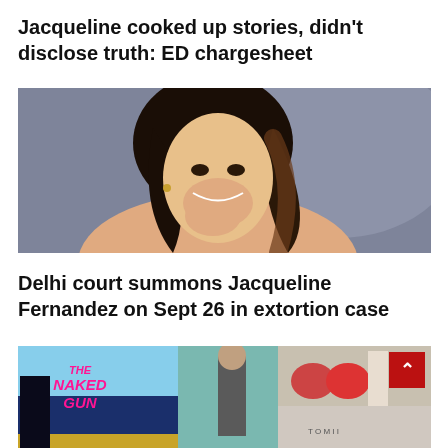Jacqueline cooked up stories, didn't disclose truth: ED chargesheet
[Figure (photo): Smiling woman with dark hair, hand near face, posing against grey background]
Delhi court summons Jacqueline Fernandez on Sept 26 in extortion case
[Figure (photo): Collage of movie posters and images including 'The Naked Gun' movie poster in pink text, a figure in dark coat, and boxing/sports images with a red scroll-up button]